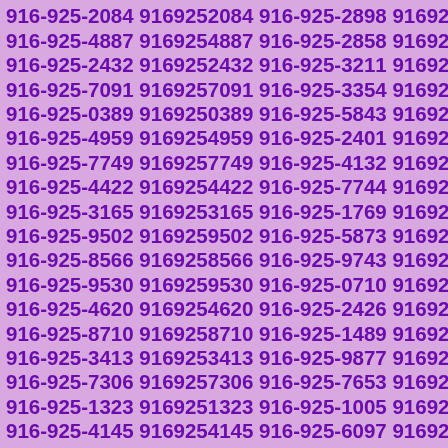916-925-9564 9169259564 916-925-5796 9169255796 916-925-2084 9169252084 916-925-2898 9169252898 916-925-4887 9169254887 916-925-2858 9169252858 916-925-2432 9169252432 916-925-3211 9169253211 916-925-7091 9169257091 916-925-3354 9169253354 916-925-0389 9169250389 916-925-5843 9169255843 916-925-4959 9169254959 916-925-2401 9169252401 916-925-7749 9169257749 916-925-4132 9169254132 916-925-4422 9169254422 916-925-7744 9169257744 916-925-3165 9169253165 916-925-1769 9169251769 916-925-9502 9169259502 916-925-5873 9169255873 916-925-8566 9169258566 916-925-9743 9169259743 916-925-9530 9169259530 916-925-0710 9169250710 916-925-4620 9169254620 916-925-2426 9169252426 916-925-8710 9169258710 916-925-1489 9169251489 916-925-3413 9169253413 916-925-9877 9169259877 916-925-7306 9169257306 916-925-7653 9169257653 916-925-1323 9169251323 916-925-1005 9169251005 916-925-4145 9169254145 916-925-6097 9169256097 916-925-3081 9169253081 916-925-9454 9169259454